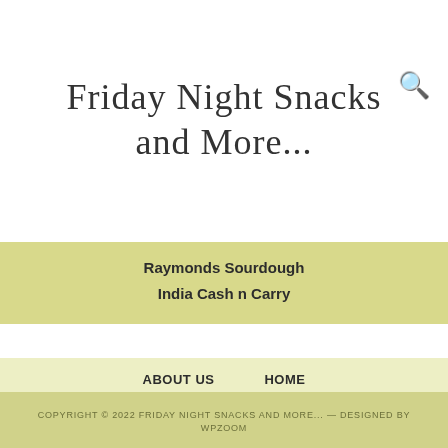Friday Night Snacks and More...
Raymonds Sourdough
India Cash n Carry
ABOUT US    HOME
AS AN AMAZON ASSOCIATE, I EARN FROM QUALIFYING PURCHASES
COOKING NEWS    PRIVACY POLICY
COPYRIGHT © 2022 FRIDAY NIGHT SNACKS AND MORE... — DESIGNED BY WPZOOM